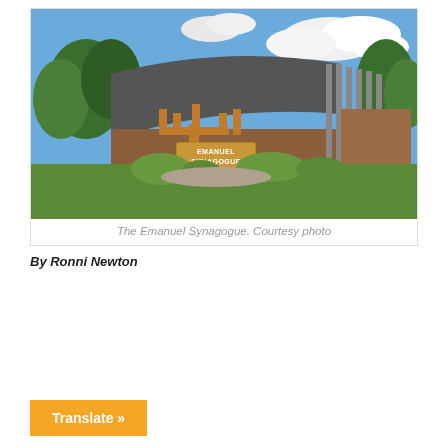[Figure (photo): Exterior photograph of The Emanuel Synagogue building. A large curved dark metal/brick structure with a decorative menorah sign in front reading 'EMANUEL SYNAGOGUE'. Green lawn, trees, blue sky with clouds visible.]
The Emanuel Synagogue. Courtesy photo
By Ronni Newton